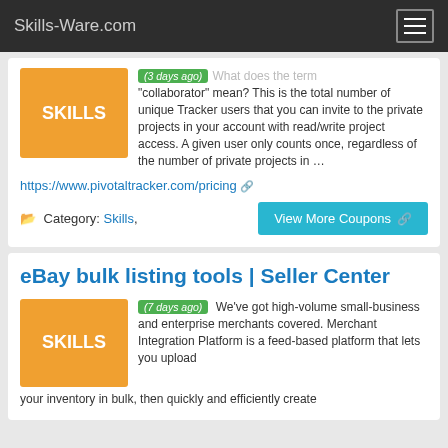Skills-Ware.com
(3 days ago) What does the term "collaborator" mean? This is the total number of unique Tracker users that you can invite to the private projects in your account with read/write project access. A given user only counts once, regardless of the number of private projects in …
https://www.pivotaltracker.com/pricing
Category: Skills,
View More Coupons
eBay bulk listing tools | Seller Center
(7 days ago) We've got high-volume small-business and enterprise merchants covered. Merchant Integration Platform is a feed-based platform that lets you upload your inventory in bulk, then quickly and efficiently create